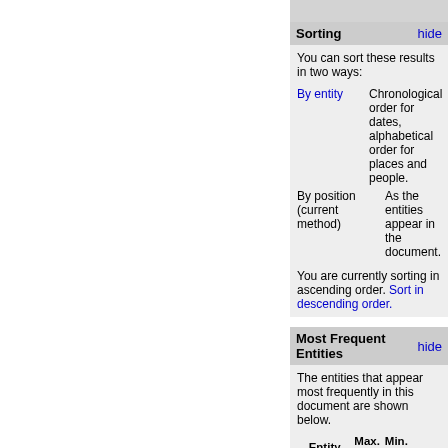Sorting hide
You can sort these results in two ways:
By entity   Chronological order for dates, alphabetical order for places and people.
By position (current method)   As the entities appear in the document.
You are currently sorting in ascending order. Sort in descending order.
Most Frequent Entities hide
The entities that appear most frequently in this document are shown below.
| Entity | Max. Freq | Min. Freq |  |
| --- | --- | --- | --- |
| United States (United States) | 24 | 0 | Brow |
| Fort Pickens (Florida, United States) | 10 | 0 | Brow |